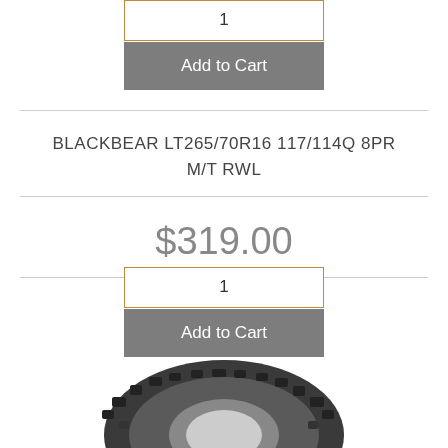1
Add to Cart
BLACKBEAR LT265/70R16 117/114Q 8PR M/T RWL
$319.00
1
Add to Cart
[Figure (photo): Partial tire image showing a black off-road/mud terrain tire tread, bottom portion of the page.]